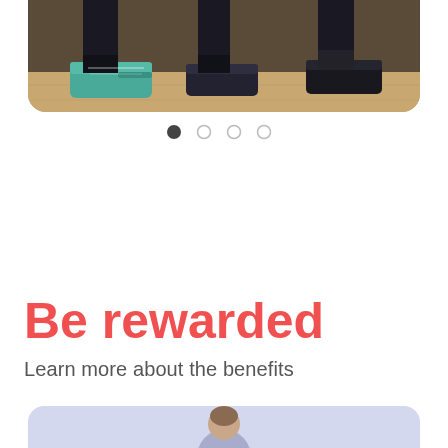[Figure (photo): Close-up photo of people's feet and legs during a fitness/dance class, showing teal/turquoise sneakers and dark pants on a wooden floor]
[Figure (infographic): Carousel pagination dots — one filled dark dot followed by three empty circle dots]
Be rewarded
Learn more about the benefits
[Figure (photo): Partially visible photo of a person, appears to be in a light blue/lavender background, cropped at bottom of page]